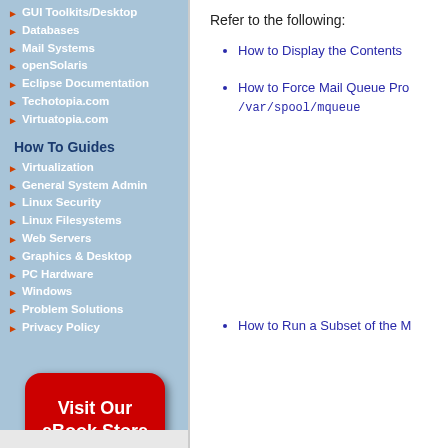GUI Toolkits/Desktop
Databases
Mail Systems
openSolaris
Eclipse Documentation
Techotopia.com
Virtuatopia.com
How To Guides
Virtualization
General System Admin
Linux Security
Linux Filesystems
Web Servers
Graphics & Desktop
PC Hardware
Windows
Problem Solutions
Privacy Policy
[Figure (illustration): Red rounded rectangle button with white bold text: Visit Our eBook Store]
Refer to the following:
How to Display the Contents
How to Force Mail Queue Pro /var/spool/mqueue
How to Run a Subset of the M